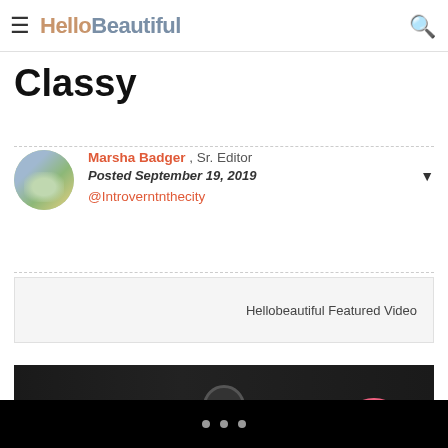HelloBeautiful
Classy
Marsha Badger , Sr. Editor
Posted September 19, 2019
@Introverntnthecity
Hellobeautiful Featured Video
[Figure (photo): Dark video preview image with pink element and circular element, appears to be a thumbnail for a featured video]